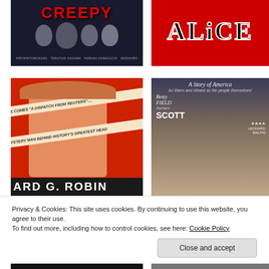[Figure (photo): Movie poster for CREEPY - dark background with faces and red title text]
[Figure (photo): Movie/show poster for ALICE - red background with large black serif title text]
[Figure (photo): Movie poster for a Reuters film - red background with man in hat and diagonal banner strips, title at bottom: ARD G. ROBIN]
[Figure (photo): Movie poster: A Story of America - Betty Field, Zachary Scott, 4 stars Leonard Maltin]
Privacy & Cookies: This site uses cookies. By continuing to use this website, you agree to their use.
To find out more, including how to control cookies, see here: Cookie Policy
[Figure (photo): Partial movie poster bottom left - partially visible]
[Figure (photo): Partial movie poster bottom right - partially visible]